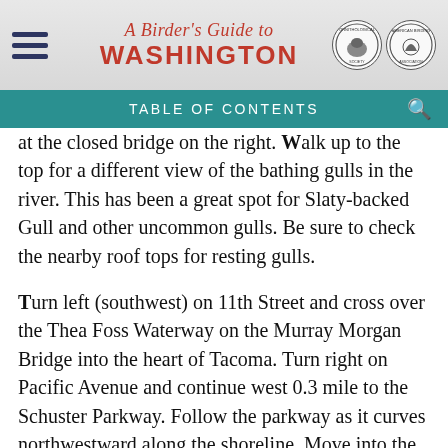A Birder's Guide to WASHINGTON
TABLE OF CONTENTS
at the closed bridge on the right. Walk up to the top for a different view of the bathing gulls in the river. This has been a great spot for Slaty-backed Gull and other uncommon gulls. Be sure to check the nearby roof tops for resting gulls.
Turn left (southwest) on 11th Street and cross over the Thea Foss Waterway on the Murray Morgan Bridge into the heart of Tacoma. Turn right on Pacific Avenue and continue west 0.3 mile to the Schuster Parkway. Follow the parkway as it curves northwestward along the shoreline. Move into the left lane, and in 1.4 miles take the overpass across the railroad tracks onto Ruston Way, lined by a two-mile scenic waterfront park. Several turnouts with parking